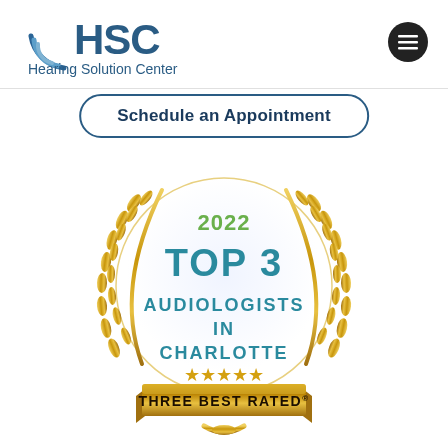[Figure (logo): HSC Hearing Solution Center logo with blue arc/wave graphic and blue text]
[Figure (other): Dark circle hamburger menu icon in top right corner]
Schedule an Appointment
[Figure (infographic): 2022 Top 3 Audiologists in Charlotte award badge with gold laurel wreath, gold ribbon banner reading THREE BEST RATED, gold stars, and teal/green text inside a white circle]